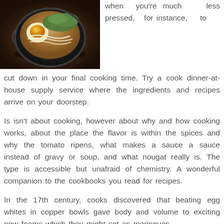[Figure (photo): A bowl of ramen with egg, greens, and noodles on a dark wooden table, viewed from above/side angle.]
when you're much less pressed, for instance, to cut down in your final cooking time. Try a cook dinner-at-house supply service where the ingredients and recipes arrive on your doorstep.
Is isn't about cooking, however about why and how cooking works, about the place the flavor is within the spices and why the tomato ripens, what makes a sauce a sauce instead of gravy or soup, and what nougat really is. The type is accessible but unafraid of chemistry. A wonderful companion to the cookbooks you read for recipes.
In the 17th century, cooks discovered that beating egg whites in copper bowls gave body and volume to exciting new foams which they might set as meringues